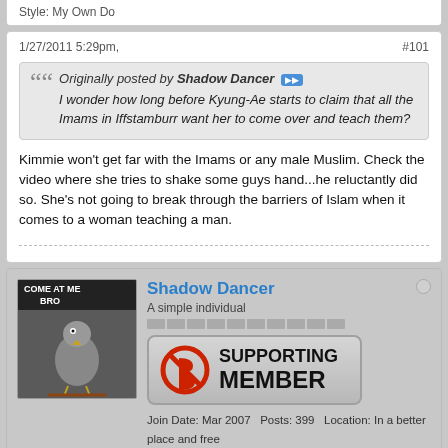Style: My Own Do
1/27/2011 5:29pm,
#101
Originally posted by Shadow Dancer
I wonder how long before Kyung-Ae starts to claim that all the Imams in Iffstamburr want her to come over and teach them?
Kimmie won't get far with the Imams or any male Muslim. Check the video where she tries to shake some guys hand...he reluctantly did so. She's not going to break through the barriers of Islam when it comes to a woman teaching a man.
Shadow Dancer
A simple individual
Join Date: Mar 2007   Posts: 399   Location: In a better place and free
Style: Pet Kat Do